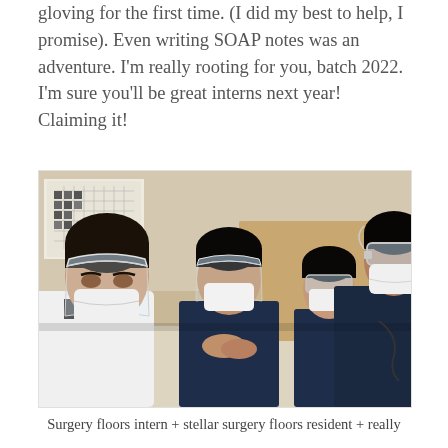gloving for the first time. (I did my best to help, I promise). Even writing SOAP notes was an adventure. I'm really rooting for you, batch 2022. I'm sure you'll be great interns next year! Claiming it!
[Figure (photo): Four people wearing face shields and masks seated around a table in a clinical/medical setting. One person on the left wears a white coat and is taking a selfie. Three others in dark navy scrubs sit behind them. A building poster is visible in the background.]
Surgery floors intern + stellar surgery floors resident + really